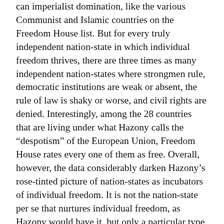can imperialist domination, like the various Communist and Islamic countries on the Freedom House list. But for every truly independent nation-state in which individual freedom thrives, there are three times as many independent nation-states where strongmen rule, democratic institutions are weak or absent, the rule of law is shaky or worse, and civil rights are denied. Interestingly, among the 28 countries that are living under what Hazony calls the “despotism” of the European Union, Freedom House rates every one of them as free. Overall, however, the data considerably darken Hazony’s rose-tinted picture of nation-states as incubators of individual freedom. It is not the nation-state per se that nurtures individual freedom, as Hazony would have it, but only a particular type of nation-state: namely, liberal democracy.
How about “disdain for imperial conquest”? Is that the disposition of the average nation-state, today or in the past?
Hazony devotes an extended segment of his book to the Westphalian treaties of the 17th century that, among other things, established a general recognition of